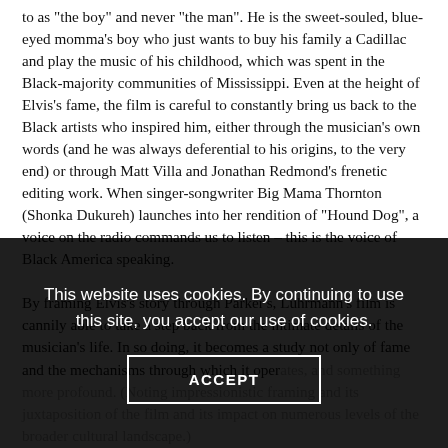to as "the boy" and never "the man". He is the sweet-souled, blue-eyed momma's boy who just wants to buy his family a Cadillac and play the music of his childhood, which was spent in the Black-majority communities of Mississippi. Even at the height of Elvis's fame, the film is careful to constantly bring us back to the Black artists who inspired him, either through the musician's own words (and he was always deferential to his origins, to the very end) or through Matt Villa and Jonathan Redmond's frenetic editing work. When singer-songwriter Big Mama Thornton (Shonka Dukureh) launches into her rendition of "Hound Dog", a voice on the radio commands us to listen – this is the voice of Black America speaking.

By framing Elvis's story through Parker's, Luhrmann's film is cannily able to take a step back from the intimate details of the musician's life. In so doing, it becomes a study not only of fame and the mechanisms through which it operates, but of something more profound...
This website uses cookies. By continuing to use this site, you accept our use of cookies.